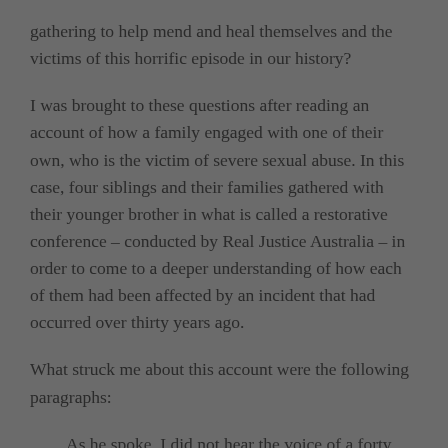gathering to help mend and heal themselves and the victims of this horrific episode in our history?
I was brought to these questions after reading an account of how a family engaged with one of their own, who is the victim of severe sexual abuse. In this case, four siblings and their families gathered with their younger brother in what is called a restorative conference – conducted by Real Justice Australia – in order to come to a deeper understanding of how each of them had been affected by an incident that had occurred over thirty years ago.
What struck me about this account were the following paragraphs:
As he spoke, I did not hear the voice of a forty five